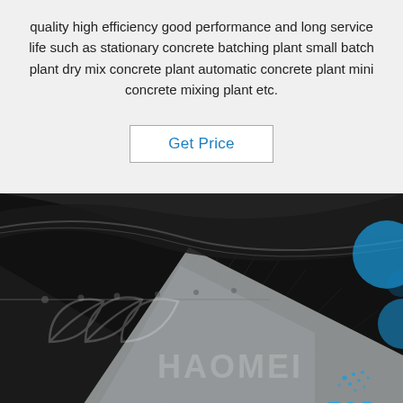quality high efficiency good performance and long service life such as stationary concrete batching plant small batch plant dry mix concrete plant automatic concrete plant mini concrete mixing plant etc.
Get Price
[Figure (photo): Close-up photo of a metal/steel sheet surface with a dark plastic or rubber covering being peeled back, with a HAOMEI watermark and TOP icon with water droplet symbol in the bottom right corner. Dark background with blue circular accent elements on the right side.]